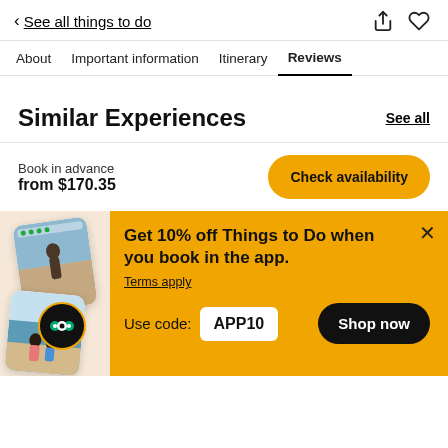< See all things to do
About  Important information  Itinerary  Reviews
Similar Experiences
Book in advance
from $170.35
Check availability
[Figure (screenshot): Promotional banner with phone screenshots showing travel activities, TripAdvisor badge, yellow background. Text: Get 10% off Things to Do when you book in the app. Terms apply. Use code: APP10. Shop now button.]
Get 10% off Things to Do when you book in the app.
Terms apply
Use code: APP10
Shop now